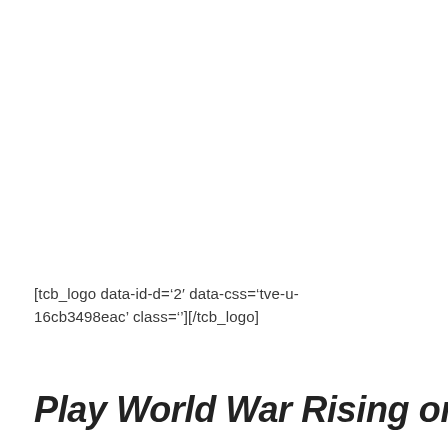[tcb_logo data-id-d='2' data-css='tve-u-16cb3498eac' class=''][/tcb_logo]
Play World War Rising on